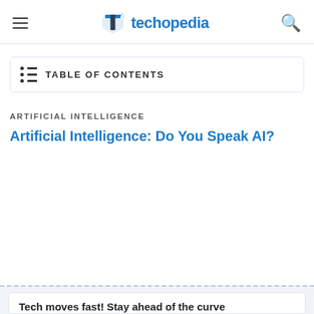techopedia — TABLE OF CONTENTS
ARTIFICIAL INTELLIGENCE
Artificial Intelligence: Do You Speak AI?
Tech moves fast! Stay ahead of the curve